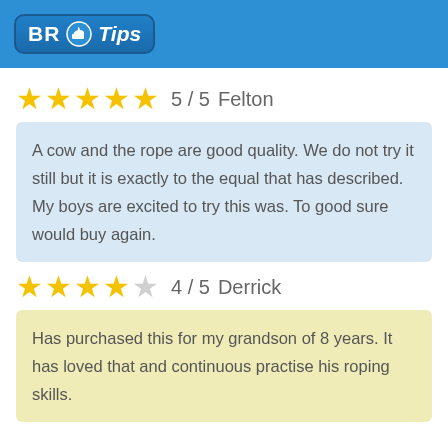BR Tips
5 / 5   Felton
A cow and the rope are good quality. We do not try it still but it is exactly to the equal that has described. My boys are excited to try this was. To good sure would buy again.
4 / 5   Derrick
Has purchased this for my grandson of 8 years. It has loved that and continuous practise his roping skills.